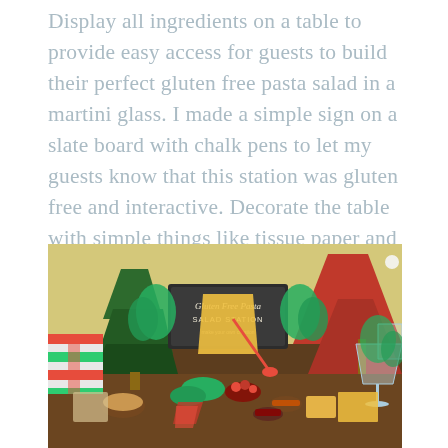Display all ingredients on a table to provide easy access for guests to build their perfect gluten free pasta salad in a martini glass. I made a simple sign on a slate board with chalk pens to let my guests know that this station was gluten free and interactive. Decorate the table with simple things like tissue paper and ornaments in glassware, plants, mini trees and fake wrapped presents.
[Figure (photo): A festive gluten free pasta salad station table decorated with mini Christmas trees (green and red bottle brush), wrapped presents with red and green stripes, a chalkboard sign reading 'Gluten Free Pasta Salad Station', martini glasses, and various ingredients including pasta, fresh vegetables, tomatoes, basil, carrots, cheeses arranged on a dark wood table.]